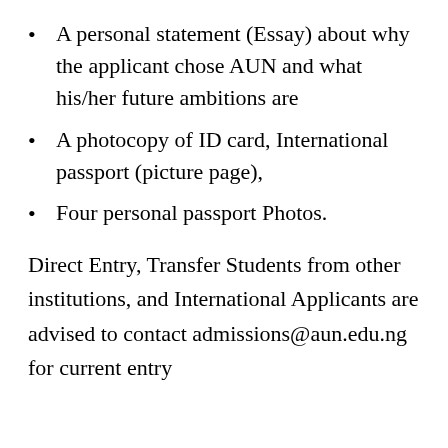A personal statement (Essay) about why the applicant chose AUN and what his/her future ambitions are
A photocopy of ID card, International passport (picture page),
Four personal passport Photos.
Direct Entry, Transfer Students from other institutions, and International Applicants are advised to contact admissions@aun.edu.ng for current entry